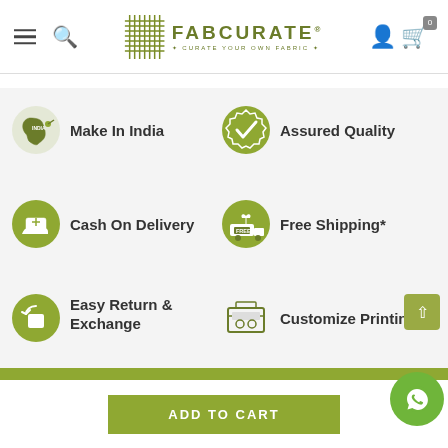[Figure (logo): FabCurate logo with grid icon and tagline 'Curate Your Own Fabric']
[Figure (infographic): Six feature icons: Make In India, Assured Quality, Cash On Delivery, Free Shipping*, Easy Return & Exchange, Customize Printing]
JOIN OUR NEWSLETTER & STAY UPDATED
ADD TO CART